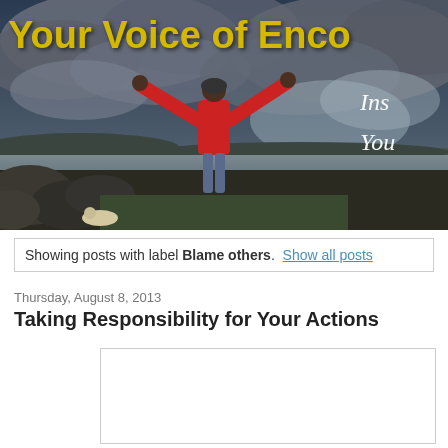[Figure (photo): Website banner header showing a person in a red jacket standing with arms raised wide against a dramatic cloudy sky over water and rocks. Yellow bold text overlay reads 'Your Voice of Enco' (partially cropped). White italic text on right reads 'Ins' and 'You' (partially cropped).]
Showing posts with label Blame others. Show all posts
Thursday, August 8, 2013
Taking Responsibility for Your Actions
[Figure (other): Empty white box with border (image placeholder for blog post)]